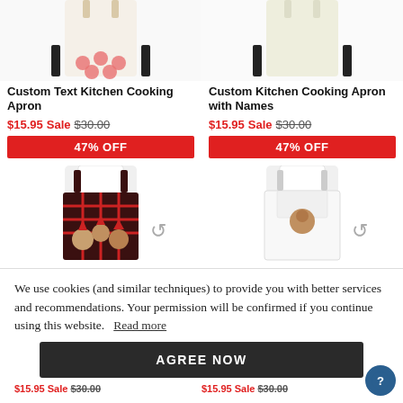[Figure (photo): Top of two product cards showing aprons - left: cupcake print apron, right: plain light-colored apron]
Custom Text Kitchen Cooking Apron
$15.95 Sale $30.00
47% OFF
Custom Kitchen Cooking Apron with Names
$15.95 Sale $30.00
47% OFF
[Figure (photo): Bottom product thumbnails - left: man wearing black/red plaid apron with family photo print, right: man wearing white apron with photo print]
We use cookies (and similar techniques) to provide you with better services and recommendations. Your permission will be confirmed if you continue using this website.  Read more
AGREE NOW
$15.95 Sale $30.00  $15.95 Sale $30.00